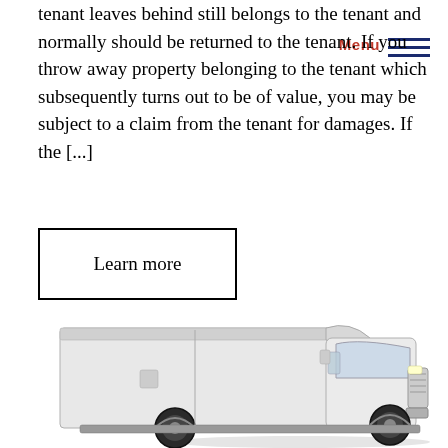tenant leaves behind still belongs to the tenant and normally should be returned to the tenant. If you throw away property belonging to the tenant which subsequently turns out to be of value, you may be subject to a claim from the tenant for damages. If the [...]
Learn more
[Figure (photo): A white box truck / moving van photographed against a white background, viewed from a three-quarter front angle.]